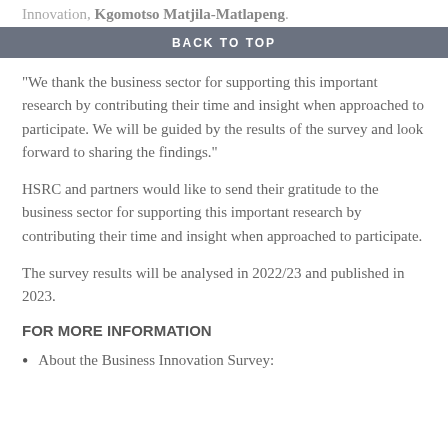BACK TO TOP
Innovation, Kgomotso Matjila-Matlapeng.
“We thank the business sector for supporting this important research by contributing their time and insight when approached to participate. We will be guided by the results of the survey and look forward to sharing the findings.”
HSRC and partners would like to send their gratitude to the business sector for supporting this important research by contributing their time and insight when approached to participate.
The survey results will be analysed in 2022/23 and published in 2023.
FOR MORE INFORMATION
About the Business Innovation Survey: